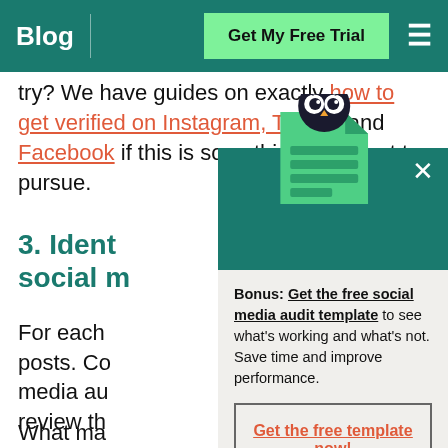Blog | Get My Free Trial
try? We have guides on exactly how to get verified on Instagram, Twitter, and Facebook if this is something you want to pursue.
3. Identify your best social media...
For each posts. Co media au review th
What ma
[Figure (screenshot): Hootsuite popup modal with owl mascot on a document icon, teal header, light gray body. Contains bonus offer text and CTA button.]
Bonus: Get the free social media audit template to see what's working and what's not. Save time and improve performance.
Get the free template now!